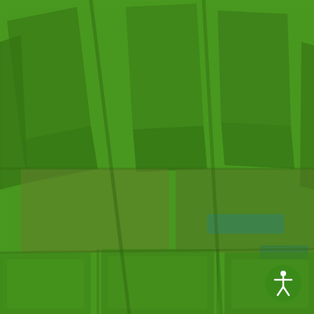[Figure (photo): Aerial photograph of what appears to be green-roofed buildings or agricultural structures viewed from above. The image is dominated by various shades of green. In the upper portion, diagonal green panels or roof structures are visible. The middle section shows some brownish areas with faint teal/turquoise rectangular outlines. The lower portion shows a grid-like pattern of rectangular green-roofed structures. In the bottom-right corner there is a circular green accessibility icon with a white human figure.]